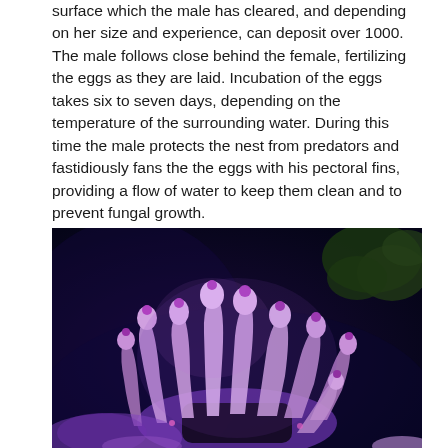surface which the male has cleared, and depending on her size and experience, can deposit over 1000. The male follows close behind the female, fertilizing the eggs as they are laid. Incubation of the eggs takes six to seven days, depending on the temperature of the surrounding water. During this time the male protects the nest from predators and fastidiously fans the the eggs with his pectoral fins, providing a flow of water to keep them clean and to prevent fungal growth.
[Figure (photo): Close-up photograph of a coral or sea anemone with finger-like projections (polyps) illuminated in purple and pink hues against a dark blue background, with some green algae visible in the upper right corner.]